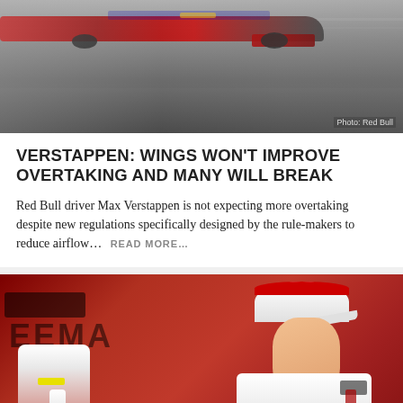[Figure (photo): Blurred action shot of a Red Bull Formula 1 race car on track, motion blur effect on grey tarmac background]
Photo: Red Bull
VERSTAPPEN: WINGS WON'T IMPROVE OVERTAKING AND MANY WILL BREAK
Red Bull driver Max Verstappen is not expecting more overtaking despite new regulations specifically designed by the rule-makers to reduce airflow… READ MORE…
[Figure (photo): Young racing driver in red and white Ferrari racing suit and cap inspecting or touching a red Formula 1 or Formula 2 car, with PREMA team branding visible in background]